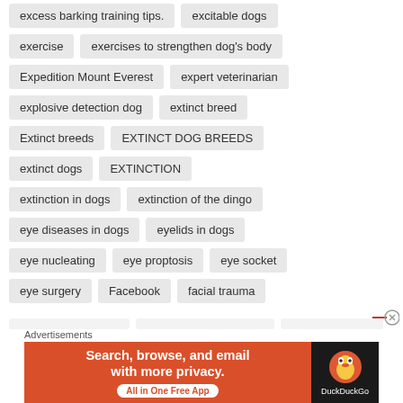excess barking training tips.
excitable dogs
exercise
exercises to strengthen dog's body
Expedition Mount Everest
expert veterinarian
explosive detection dog
extinct breed
Extinct breeds
EXTINCT DOG BREEDS
extinct dogs
EXTINCTION
extinction in dogs
extinction of the dingo
eye diseases in dogs
eyelids in dogs
eye nucleating
eye proptosis
eye socket
eye surgery
Facebook
facial trauma
Advertisements
[Figure (screenshot): DuckDuckGo advertisement banner: 'Search, browse, and email with more privacy. All in One Free App' with DuckDuckGo logo on dark background.]